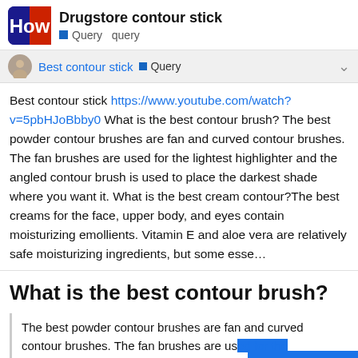Drugstore contour stick | Query query
Best contour stick | Query
Best contour stick https://www.youtube.com/watch?v=5pbHJoBbby0 What is the best contour brush? The best powder contour brushes are fan and curved contour brushes. The fan brushes are used for the lightest highlighter and the angled contour brush is used to place the darkest shade where you want it. What is the best cream contour?The best creams for the face, upper body, and eyes contain moisturizing emollients. Vitamin E and aloe vera are relatively safe moisturizing ingredients, but some esse…
What is the best contour brush?
The best powder contour brushes are fan and curved contour brushes. The fan brushes are used for the lightest highlighter and the angled contour brush…